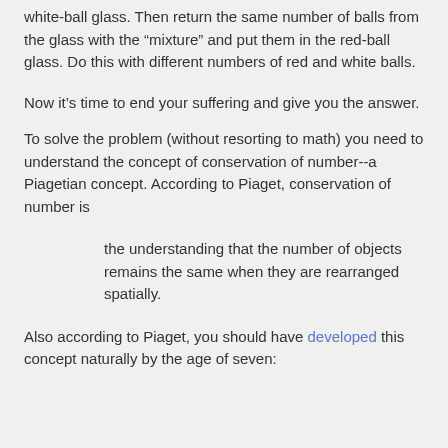white-ball glass. Then return the same number of balls from the glass with the “mixture” and put them in the red-ball glass. Do this with different numbers of red and white balls.
Now it’s time to end your suffering and give you the answer.
To solve the problem (without resorting to math) you need to understand the concept of conservation of number--a Piagetian concept. According to Piaget, conservation of number is
the understanding that the number of objects remains the same when they are rearranged spatially.
Also according to Piaget, you should have developed this concept naturally by the age of seven: